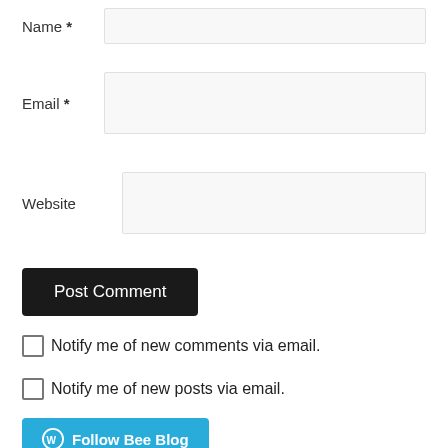Name *
Email *
Website
Post Comment
Notify me of new comments via email.
Notify me of new posts via email.
Follow Bee Blog